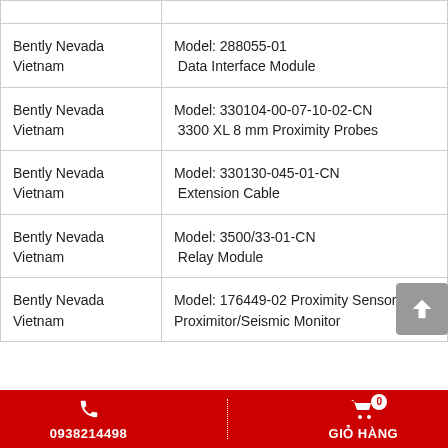|  |  |
| --- | --- |
| Bently Nevada Vietnam | Model: 288055-01
Data Interface Module |
| Bently Nevada Vietnam | Model: 330104-00-07-10-02-CN
3300 XL 8 mm Proximity Probes |
| Bently Nevada Vietnam | Model: 330130-045-01-CN
Extension Cable |
| Bently Nevada Vietnam | Model: 3500/33-01-CN
Relay Module |
| Bently Nevada Vietnam | Model: 176449-02 Proximity Sensor Proximitor/Seismic Monitor |
0938214498   GIỎ HÀNG 0